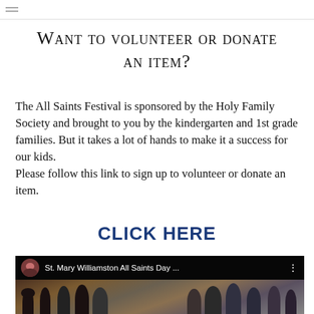Want to volunteer or donate an item?
The All Saints Festival is sponsored by the Holy Family Society and brought to you by the kindergarten and 1st grade families. But it takes a lot of hands to make it a success for our kids.
Please follow this link to sign up to volunteer or donate an item.
CLICK HERE
[Figure (screenshot): YouTube video thumbnail showing a group of people, with title 'St. Mary Williamston All Saints Day ...' and a user avatar in the top bar]